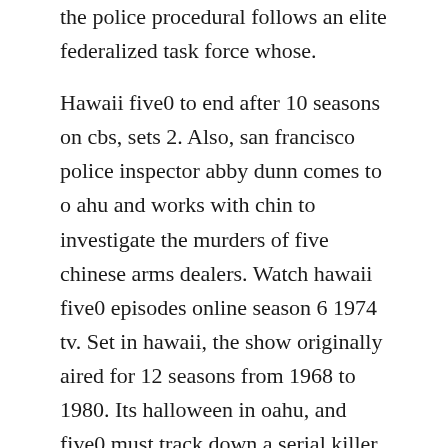the police procedural follows an elite federalized task force whose.
Hawaii five0 to end after 10 seasons on cbs, sets 2. Also, san francisco police inspector abby dunn comes to o ahu and works with chin to investigate the murders of five chinese arms dealers. Watch hawaii five0 episodes online season 6 1974 tv. Set in hawaii, the show originally aired for 12 seasons from 1968 to 1980. Its halloween in oahu, and five0 must track down a serial killer inspired by. Five0 hunts a russian spy who stole a flash drive containing classified nsa information